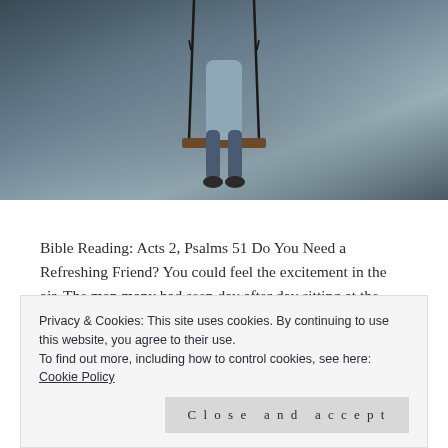[Figure (photo): A person sitting on a swing outdoors, with blurred trees and dark ropes visible. The figure appears to be wearing a light blue/grey top.]
Bible Reading: Acts 2, Psalms 51 Do You Need a Refreshing Friend? You could feel the excitement in the air. The man many had seen day after day sitting at the gate Beautiful, was healed today, or at least that's what the rumor is. With quick steps, I move with the
Privacy & Cookies: This site uses cookies. By continuing to use this website, you agree to their use.
To find out more, including how to control cookies, see here: Cookie Policy
Close and accept